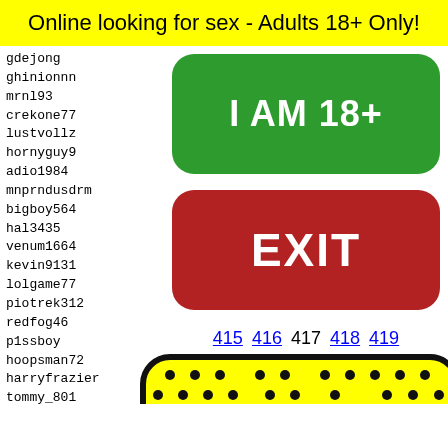Online looking for sex - Adults 18+ Only!
gdejong
ghinionnn
mrnl93
crekone77
lustvollz
hornyguy9
adio1984
mnprndusdrm
bigboy564
hal3435
venum1664
kevin9131
lolgame77
piotrek312
redfog46
p1ssboy
hoopsman72
harryfrazier
tommy_801
notsli
ksboy1
klabau
norway
milflo
105008
[Figure (other): Green button labeled I AM 18+]
[Figure (other): Red button labeled EXIT]
415 416 417 418 419
[Figure (illustration): Yellow rounded rectangle with black dot pattern and emoji face with bow tie]